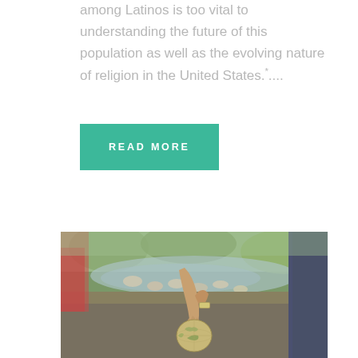among Latinos is too vital to understanding the future of this population as well as the evolving nature of religion in the United States....
READ MORE
[Figure (photo): Person holding a small globe in an outdoor setting with stepping stones over water and greenery in background]